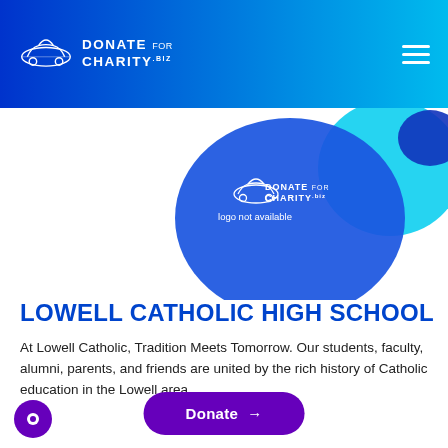Donate for Charity
[Figure (logo): Donate for Charity logo with car outline and text, shown inside a blue blob shape with text 'logo not available']
LOWELL CATHOLIC HIGH SCHOOL
At Lowell Catholic, Tradition Meets Tomorrow. Our students, faculty, alumni, parents, and friends are united by the rich history of Catholic education in the Lowell area
Donate →